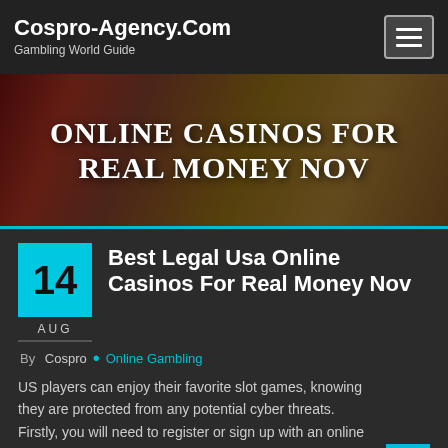Cospro-Agency.Com
Gambling World Guide
[Figure (photo): Banner image for online casinos article with text overlay: ONLINE CASINOS FOR REAL MONEY NOV]
Best Legal Usa Online Casinos For Real Money Nov
By Cospro • Online Gambling
US players can enjoy their favorite slot games, knowing they are protected from any potential cyber threats. Firstly, you will need to register or sign up with an online casino of your choice. There are plenty of casino sites for American